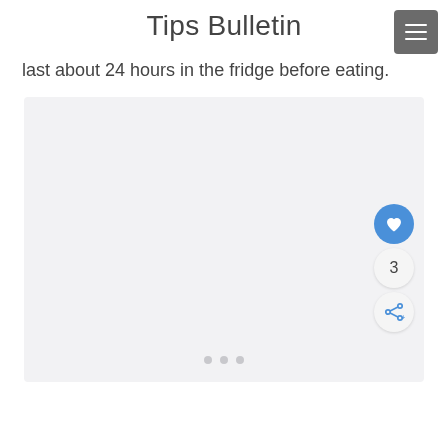Tips Bulletin
last about 24 hours in the fridge before eating.
[Figure (photo): Light gray image placeholder with three dots at the bottom center indicating a carousel or slideshow, with floating action buttons (heart/like, count '3', and share) on the right side.]